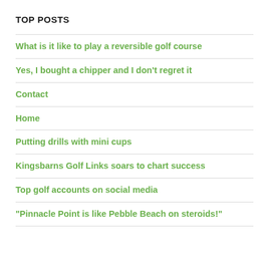TOP POSTS
What is it like to play a reversible golf course
Yes, I bought a chipper and I don't regret it
Contact
Home
Putting drills with mini cups
Kingsbarns Golf Links soars to chart success
Top golf accounts on social media
"Pinnacle Point is like Pebble Beach on steroids!"